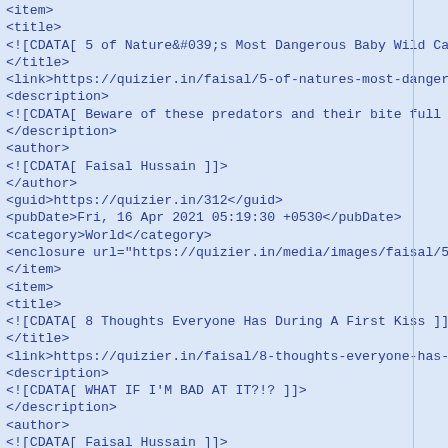<item>
<title>
<![CDATA[ 5 of Nature&#039;s Most Dangerous Baby Wild Cats
</title>
<link>https://quizier.in/faisal/5-of-natures-most-dangerous
<description>
<![CDATA[ Beware of these predators and their bite full of
</description>
<author>
<![CDATA[ Faisal Hussain ]]>
</author>
<guid>https://quizier.in/312</guid>
<pubDate>Fri, 16 Apr 2021 05:19:30 +0530</pubDate>
<category>World</category>
<enclosure url="https://quizier.in/media/images/faisal/5-of
</item>
<item>
<title>
<![CDATA[ 8 Thoughts Everyone Has During A First Kiss ]]>
</title>
<link>https://quizier.in/faisal/8-thoughts-everyone-has-dur
<description>
<![CDATA[ WHAT IF I'M BAD AT IT?!? ]]>
</description>
<author>
<![CDATA[ Faisal Hussain ]]>
</author>
<guid>https://quizier.in/315</guid>
<pubDate>Fri, 16 Apr 2021 05:19:32 +0530</pubDate>
<category>Relationship</category>